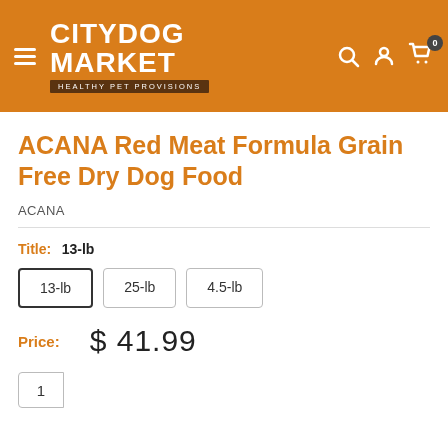[Figure (logo): City Dog Market logo with orange background, hamburger menu icon, and navigation icons (search, account, cart with 0 badge)]
ACANA Red Meat Formula Grain Free Dry Dog Food
ACANA
Title: 13-lb
13-lb  25-lb  4.5-lb
Price: $ 41.99